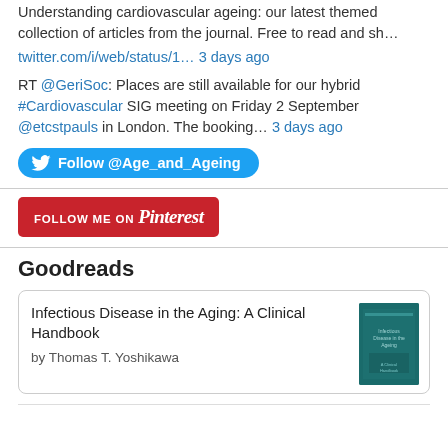Understanding cardiovascular ageing: our latest themed collection of articles from the journal. Free to read and sh…
twitter.com/i/web/status/1… 3 days ago
RT @GeriSoc: Places are still available for our hybrid #Cardiovascular SIG meeting on Friday 2 September @etcstpauls in London. The booking… 3 days ago
[Figure (other): Twitter Follow button: Follow @Age_and_Ageing (blue rounded button with Twitter bird icon)]
[Figure (other): Pinterest Follow Me On Pinterest button (red rounded-rectangle button with Pinterest script logo)]
Goodreads
Infectious Disease in the Aging: A Clinical Handbook
by Thomas T. Yoshikawa